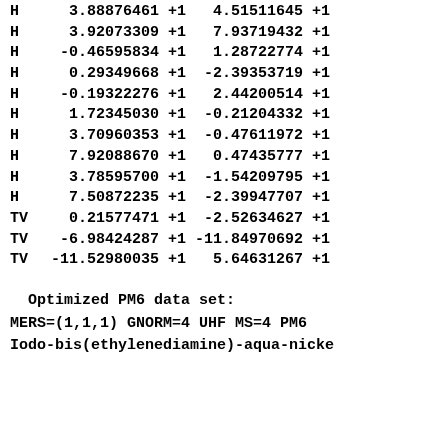| Atom | X |  | Y |  |
| --- | --- | --- | --- | --- |
| H | 3.88876461 | +1 | 4.51511645 | +1 |
| H | 3.92073309 | +1 | 7.93719432 | +1 |
| H | -0.46595834 | +1 | 1.28722774 | +1 |
| H | 0.29349668 | +1 | -2.39353719 | +1 |
| H | -0.19322276 | +1 | 2.44200514 | +1 |
| H | 1.72345030 | +1 | -0.21204332 | +1 |
| H | 3.70960353 | +1 | -0.47611972 | +1 |
| H | 7.92088670 | +1 | 0.47435777 | +1 |
| H | 3.78595700 | +1 | -1.54209795 | +1 |
| H | 7.50872235 | +1 | -2.39947707 | +1 |
| TV | 0.21577471 | +1 | -2.52634627 | +1 |
| TV | -6.98424287 | +1 | -11.84970692 | +1 |
| TV | -11.52980035 | +1 | 5.64631267 | +1 |
Optimized PM6 data set:
MERS=(1,1,1) GNORM=4 UHF MS=4 PM6
Iodo-bis(ethylenediamine)-aqua-nicke